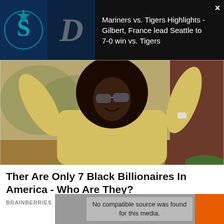[Figure (screenshot): Video thumbnail showing Seattle Mariners vs Detroit Tigers logos on dark background with close button (×)]
Mariners vs. Tigers Highlights - Gilbert, France lead Seattle to 7-0 win vs. Tigers
[Figure (photo): Person in yellow long-sleeve top wearing sunglasses with large natural hair, arms raised, celebrating outdoors]
Ther Are Only 7 Black Billionaires In America - Who Are They?
BRAINBERRIES
No compatible source was found for this media.